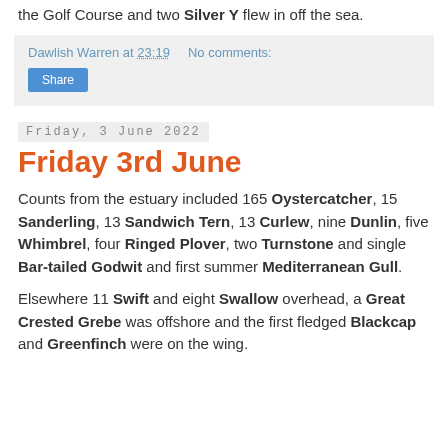the Golf Course and two Silver Y flew in off the sea.
Dawlish Warren at 23:19   No comments:
Share
Friday, 3 June 2022
Friday 3rd June
Counts from the estuary included 165 Oystercatcher, 15 Sanderling, 13 Sandwich Tern, 13 Curlew, nine Dunlin, five Whimbrel, four Ringed Plover, two Turnstone and single Bar-tailed Godwit and first summer Mediterranean Gull.
Elsewhere 11 Swift and eight Swallow overhead, a Great Crested Grebe was offshore and the first fledged Blackcap and Greenfinch were on the wing.